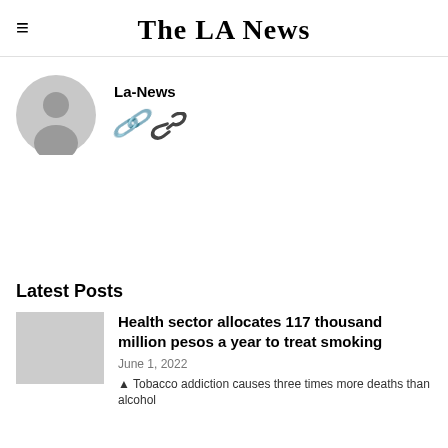The LA News
La-News
[Figure (illustration): Gray circular avatar icon with silhouette of a person head and shoulders]
Latest Posts
Health sector allocates 117 thousand million pesos a year to treat smoking
June 1, 2022
▲ Tobacco addiction causes three times more deaths than alcohol